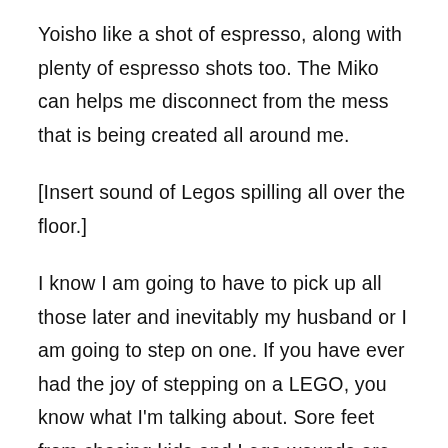Yoisho like a shot of espresso, along with plenty of espresso shots too. The Miko can helps me disconnect from the mess that is being created all around me.
[Insert sound of Legos spilling all over the floor.]
I know I am going to have to pick up all those later and inevitably my husband or I am going to step on one. If you have ever had the joy of stepping on a LEGO, you know what I'm talking about. Sore feet from chasing kids and Lego wounds are exactly why you need to have the Yoisho foot massager. Whether it's to ease the pain from stepping on a Lego or simply to give yourself a 14 minute excuse to sit